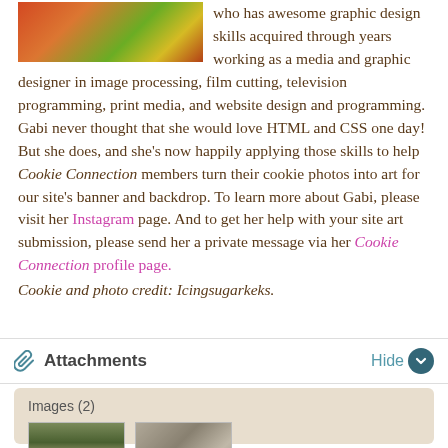[Figure (photo): Partial image of decorated cookies with red and green colors, visible at top left, partially cropped]
who has awesome graphic design skills acquired through years working as a media and graphic designer in image processing, film cutting, television programming, print media, and website design and programming. Gabi never thought that she would love HTML and CSS one day! But she does, and she's now happily applying those skills to help Cookie Connection members turn their cookie photos into art for our site's banner and backdrop. To learn more about Gabi, please visit her Instagram page. And to get her help with your site art submission, please send her a private message via her Cookie Connection profile page. Cookie and photo credit: Icingsugarkeks.
Attachments
Images (2)
[Figure (photo): Thumbnail image 1 showing books or items on a shelf with green background]
[Figure (photo): Thumbnail image 2 showing glassware or decorative items]